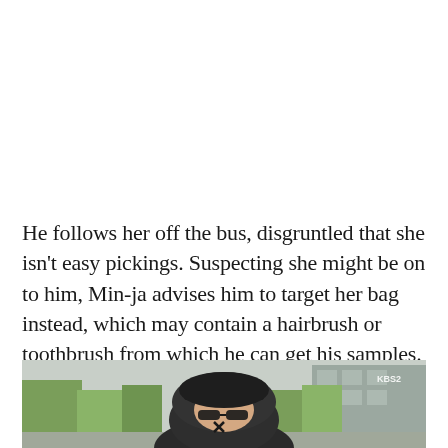He follows her off the bus, disgruntled that she isn't easy pickings. Suspecting she might be on to him, Min-ja advises him to target her bag instead, which may contain a hairbrush or toothbrush from which he can get his samples.
[Figure (photo): A person wearing a dark hoodie and dark baseball cap with sunglasses, face mostly obscured, standing outdoors with trees and a building visible in the background. KBS2 watermark visible in upper right of image.]